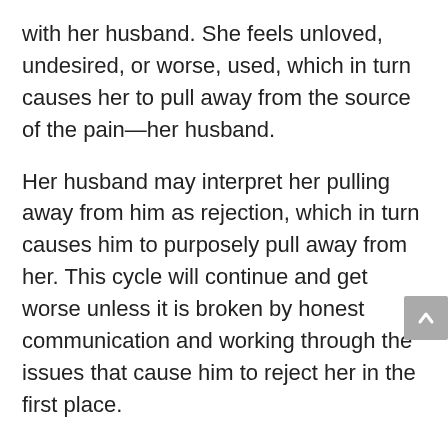with her husband. She feels unloved, undesired, or worse, used, which in turn causes her to pull away from the source of the pain—her husband.
Her husband may interpret her pulling away from him as rejection, which in turn causes him to purposely pull away from her. This cycle will continue and get worse unless it is broken by honest communication and working through the issues that cause him to reject her in the first place.
Blames Herself
I was surprised to discover that some women tend to blame themselves when